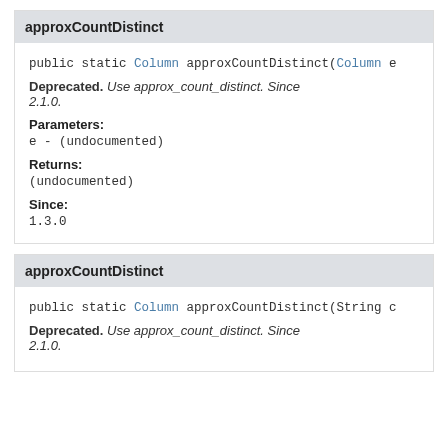approxCountDistinct
public static Column approxCountDistinct(Column e
Deprecated. Use approx_count_distinct. Since 2.1.0.
Parameters:
e - (undocumented)
Returns:
(undocumented)
Since:
1.3.0
approxCountDistinct
public static Column approxCountDistinct(String c
Deprecated. Use approx_count_distinct. Since 2.1.0.